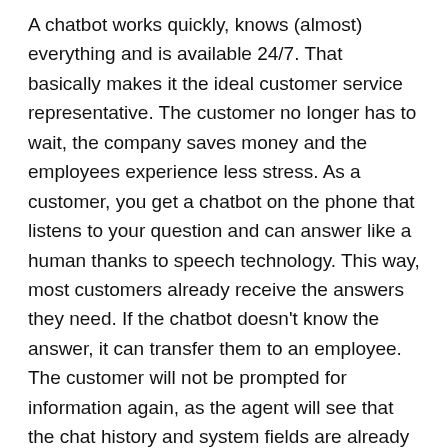A chatbot works quickly, knows (almost) everything and is available 24/7. That basically makes it the ideal customer service representative. The customer no longer has to wait, the company saves money and the employees experience less stress. As a customer, you get a chatbot on the phone that listens to your question and can answer like a human thanks to speech technology. This way, most customers already receive the answers they need. If the chatbot doesn't know the answer, it can transfer them to an employee. The customer will not be prompted for information again, as the agent will see that the chat history and system fields are already filled.
Companies are finding more and more ways to use chatbots. For example, since the advent of artificial intelligence, KLM Royal Dutch Airlines has been handling twice as many questions from customers via social media. And technical developer Doop built a Google Assistant Action in the Netherlands in collaboration with AVROTROS, specifically for